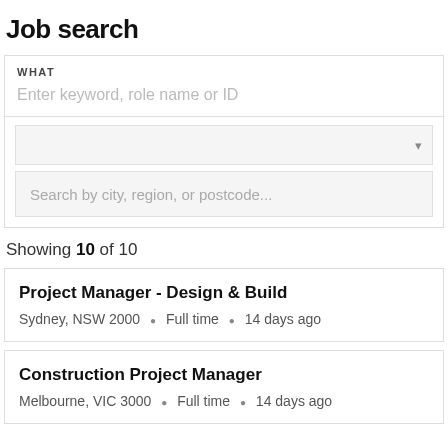Job search
WHAT
Enter keyword, role name or ID
Search by city, region, or postcode...
Showing 10 of 10
Project Manager - Design & Build
Sydney, NSW 2000  •  Full time  •  14 days ago
Construction Project Manager
Melbourne, VIC 3000  •  Full time  •  14 days ago